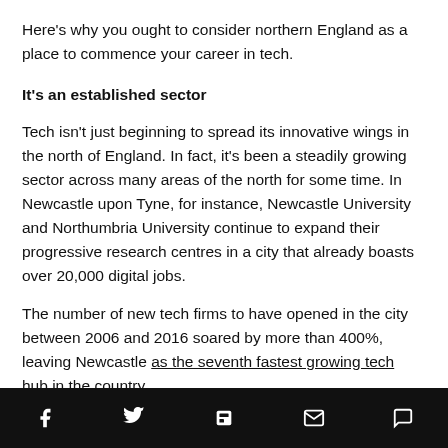Here's why you ought to consider northern England as a place to commence your career in tech.
It's an established sector
Tech isn't just beginning to spread its innovative wings in the north of England. In fact, it's been a steadily growing sector across many areas of the north for some time. In Newcastle upon Tyne, for instance, Newcastle University and Northumbria University continue to expand their progressive research centres in a city that already boasts over 20,000 digital jobs.
The number of new tech firms to have opened in the city between 2006 and 2016 soared by more than 400%, leaving Newcastle as the seventh fastest growing tech hub in the country
Social share bar with Facebook, Twitter, Flipboard, Email, Comment icons